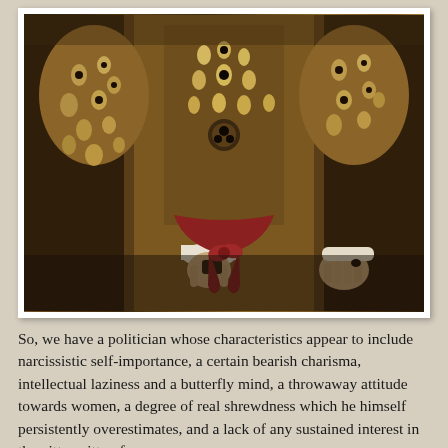[Figure (illustration): A detail from a Renaissance painting showing the torso and arms of a figure dressed in elaborate ornate clothing with intricate gold and dark patterned fabric, with another figure's hands visible adjusting or tying a red sash or belt at the waist.]
So, we have a politician whose characteristics appear to include narcissistic self-importance, a certain bearish charisma, intellectual laziness and a butterfly mind, a throwaway attitude towards women, a degree of real shrewdness which he himself persistently overestimates, and a lack of any sustained interest in the nitty-grity of